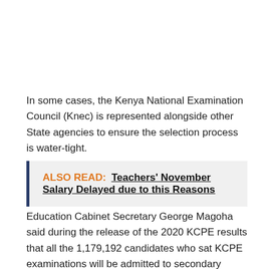In some cases, the Kenya National Examination Council (Knec) is represented alongside other State agencies to ensure the selection process is water-tight.
ALSO READ: Teachers' November Salary Delayed due to this Reasons
Education Cabinet Secretary George Magoha said during the release of the 2020 KCPE results that all the 1,179,192 candidates who sat KCPE examinations will be admitted to secondary schools under the government's 100 per cent